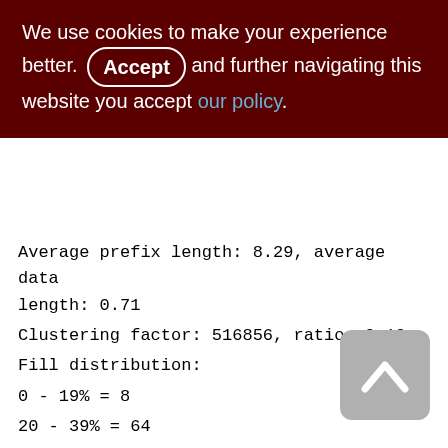We use cookies to make your experience better. By accepting and further navigating this website you accept our policy.
Average prefix length: 8.29, average data length: 0.71
Clustering factor: 516856, ratio: 0.19
Fill distribution:
0 - 19% = 8
20 - 39% = 64
40 - 59% = 1900
60 - 79% = 910
80 - 99% = 358
XQS_1200_2000 (267)
Primary pointer page: 810, Index root page: 811